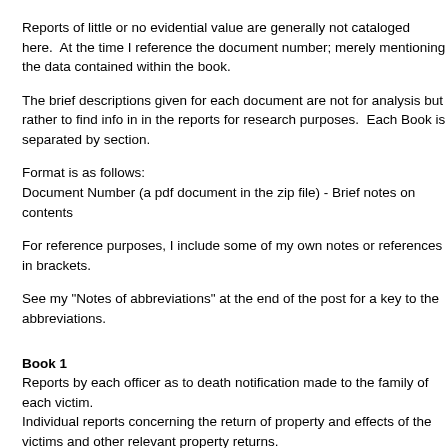Reports of little or no evidential value are generally not cataloged here.  At the time I reference the document number; merely mentioning the data contained within the book.
The brief descriptions given for each document are not for analysis but rather to find info in in the reports for research purposes.  Each Book is separated by section.
Format is as follows:
Document Number (a pdf document in the zip file) - Brief notes on contents
For reference purposes, I include some of my own notes or references in brackets.
See my "Notes of abbreviations" at the end of the post for a key to the abbreviations.
Book 1
Reports by each officer as to death notification made to the family of each victim.
Individual reports concerning the return of property and effects of the victims and other relevant property returns.
Reports concerning other meetings or onsite visits with families of the victims.